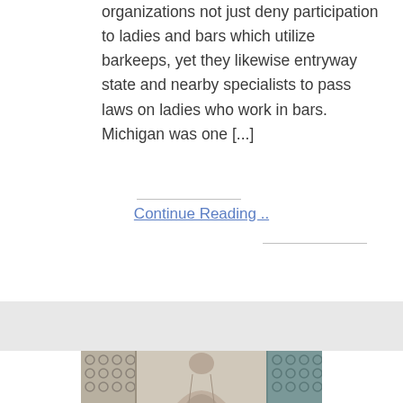organizations not just deny participation to ladies and bars which utilize barkeeps, yet they likewise entryway state and nearby specialists to pass laws on ladies who work in bars. Michigan was one [...]
Continue Reading ..
[Figure (photo): Partial view of a person with long hair standing in front of decorative paneled windows/screens, photographed in an interior setting]